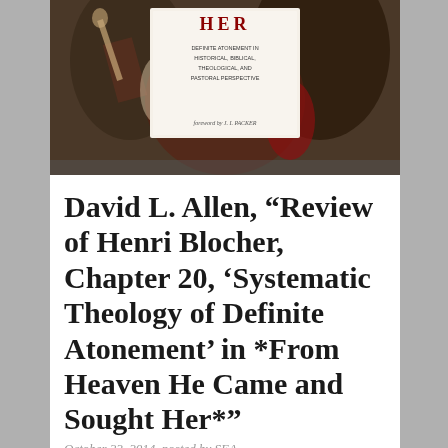[Figure (photo): Book cover image for 'From Heaven He Came and Sought Her: Definite Atonement in Historical, Biblical, Theological, and Pastoral Perspective', foreword by J.I. Packer. Features dramatic painting with figures and red tones.]
David L. Allen, “Review of Henri Blocher, Chapter 20, ‘Systematic Theology of Definite Atonement’ in *From Heaven He Came and Sought Her*”
October 22, 2014, posted by SEA
Please click on the link to view David L. Allen, “Review of Henri Blocher, Chapter 20, ‘Systematic Theology of Definite Atonement’ in